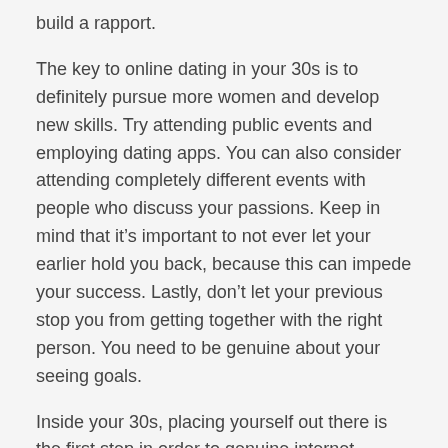build a rapport.
The key to online dating in your 30s is to definitely pursue more women and develop new skills. Try attending public events and employing dating apps. You can also consider attending completely different events with people who discuss your passions. Keep in mind that it’s important to not ever let your earlier hold you back, because this can impede your success. Lastly, don’t let your previous stop you from getting together with the right person. You need to be genuine about your seeing goals.
Inside your 30s, placing yourself out there is the first step in order to genuine internet connections. Don’t look and feel pressured in to dating quicker than you really want. Don’t let an undesirable date put you off. You don’t need to night out different people for many years. However , you cannot find any definite respond to the question showing how long to date